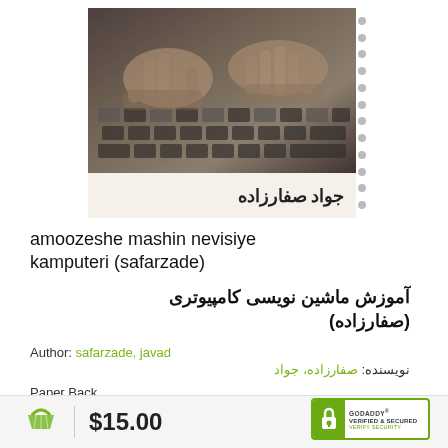[Figure (photo): Book cover showing hands typing on a keyboard in black and white/sepia tone, with Persian text 'جواد صفارزاده' at the bottom of the cover. The cover has a spiral binding on the right side.]
amoozeshe mashin nevisiye kamputeri (safarzade)
آموزش ماشین نویسی کامپیوتری (صفارزاده)
Author: safarzade, javad
نویسنده: صفارزاده، جواد
Paper Back
$15.00
[Figure (logo): GoDaddy Verified & Secured badge with green lock icon and text 'GODADDY VERIFIED & SECURED VERIFY SECURITY']